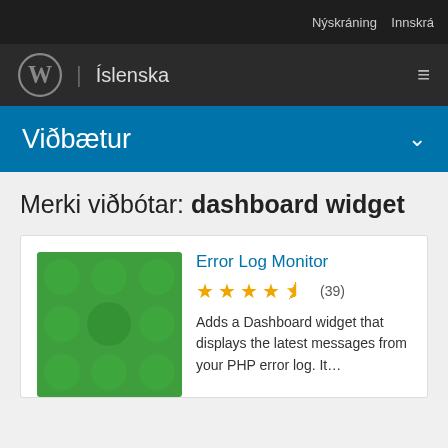Nýskráning  Innskrá
WordPress | Íslenska
Viðbætur
Merki viðbótar: dashboard widget
Error Log Monitor
★★★★½ (39)
Adds a Dashboard widget that displays the latest messages from your PHP error log. It…
[Figure (illustration): Green plugin icon with circular dot pattern for Error Log Monitor plugin]